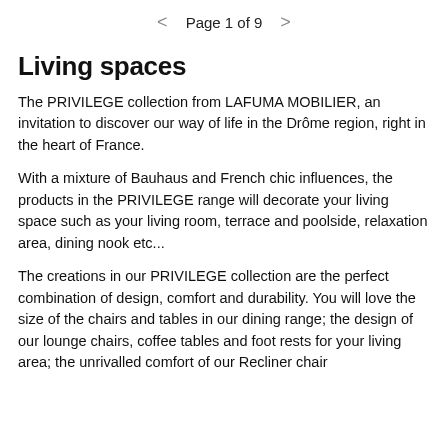< Page 1 of 9 >
Living spaces
The PRIVILEGE collection from LAFUMA MOBILIER, an invitation to discover our way of life in the Drôme region, right in the heart of France.
With a mixture of Bauhaus and French chic influences, the products in the PRIVILEGE range will decorate your living space such as your living room, terrace and poolside, relaxation area, dining nook etc...
The creations in our PRIVILEGE collection are the perfect combination of design, comfort and durability. You will love the size of the chairs and tables in our dining range; the design of our lounge chairs, coffee tables and foot rests for your living area; the unrivalled comfort of our Recliner chair